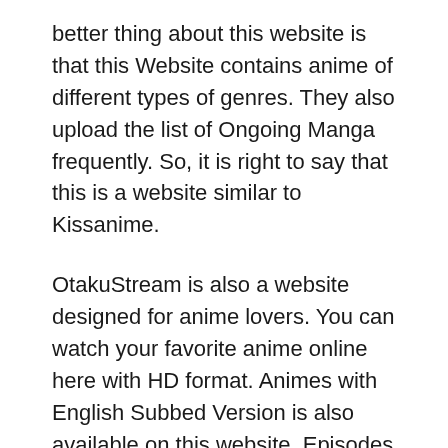better thing about this website is that this Website contains anime of different types of genres. They also upload the list of Ongoing Manga frequently. So, it is right to say that this is a website similar to Kissanime.
OtakuStream is also a website designed for anime lovers. You can watch your favorite anime online here with HD format. Animes with English Subbed Version is also available on this website. Episodes of different animes are arranged beautifully to the homepage. Top anime series is also available on this website. The website is free for use and is safe as well. So if you are looking for some website similar to kiss anime, then you can try this one.